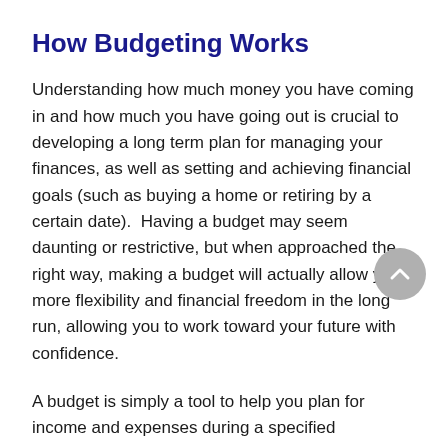How Budgeting Works
Understanding how much money you have coming in and how much you have going out is crucial to developing a long term plan for managing your finances, as well as setting and achieving financial goals (such as buying a home or retiring by a certain date).  Having a budget may seem daunting or restrictive, but when approached the right way, making a budget will actually allow you more flexibility and financial freedom in the long run, allowing you to work toward your future with confidence.
A budget is simply a tool to help you plan for income and expenses during a specified timeframe.  You can make a budget for a timeframe that makes sense for you – whether that's weekly, every pay day, every month, etc.  The important thing to remember that is in order for a budget to be effective, it should work for your specific